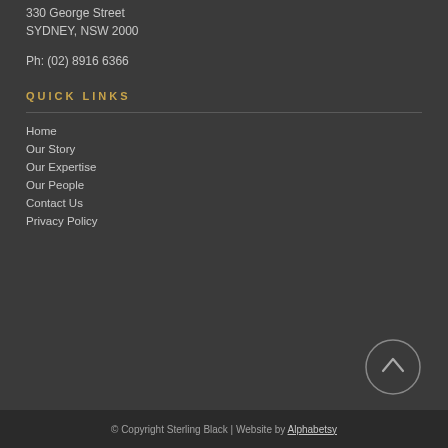330 George Street
SYDNEY, NSW 2000
Ph: (02) 8916 6366
QUICK LINKS
Home
Our Story
Our Expertise
Our People
Contact Us
Privacy Policy
© Copyright Sterling Black | Website by Alphabetsy